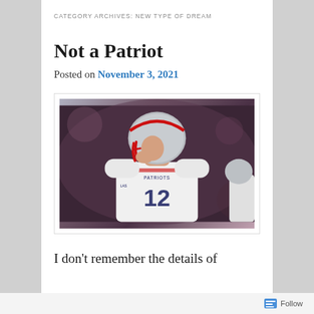CATEGORY ARCHIVES: NEW TYPE OF DREAM
Not a Patriot
Posted on November 3, 2021
[Figure (photo): NFL player wearing a New England Patriots white jersey number 12 and silver/red helmet, looking downward with hand near face, in a stadium setting with blurred crowd background]
I don't remember the details of
Follow